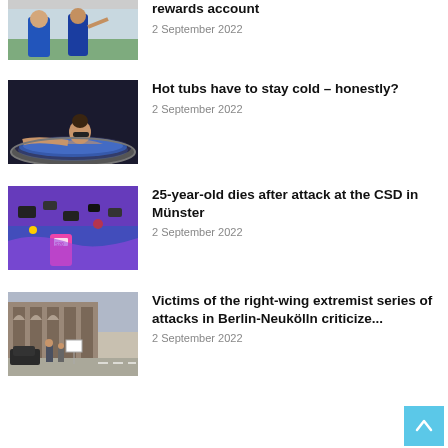[Figure (photo): Two people in blue sports jerseys on a field, partially cropped]
rewards account
2 September 2022
[Figure (photo): Woman relaxing in a hot tub with blue lighting]
Hot tubs have to stay cold – honestly?
2 September 2022
[Figure (photo): CSD event scene with colorful items and a sign visible]
25-year-old dies after attack at the CSD in Münster
2 September 2022
[Figure (photo): People standing outside a building with a sign on the street]
Victims of the right-wing extremist series of attacks in Berlin-Neukölln criticize...
2 September 2022